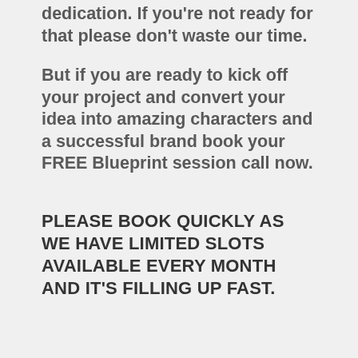dedication. If you're not ready for that please don't waste our time.
But if you are ready to kick off your project and convert your idea into amazing characters and a successful brand book your FREE Blueprint session call now.
PLEASE BOOK QUICKLY AS WE HAVE LIMITED SLOTS AVAILABLE EVERY MONTH AND IT'S FILLING UP FAST.